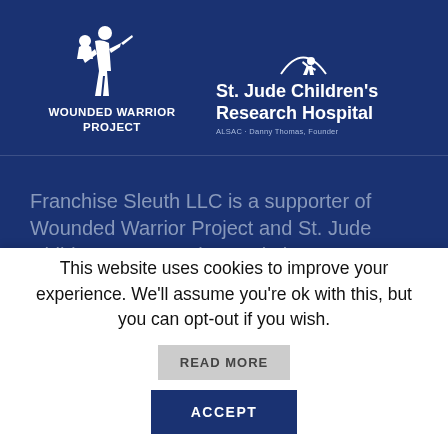[Figure (logo): Wounded Warrior Project logo — silhouette of soldier carrying injured comrade, with text WOUNDED WARRIOR PROJECT in white on dark blue background]
[Figure (logo): St. Jude Children's Research Hospital logo — running child silhouette with arc, text 'St. Jude Children's Research Hospital' and 'ALSAC · Danny Thomas, Founder' in white on dark blue background]
Franchise Sleuth LLC is a supporter of Wounded Warrior Project and St. Jude Children's Research Hospital
About Franchise Sleuth LLC
Contact Us
This website uses cookies to improve your experience. We'll assume you're ok with this, but you can opt-out if you wish.
READ MORE
ACCEPT